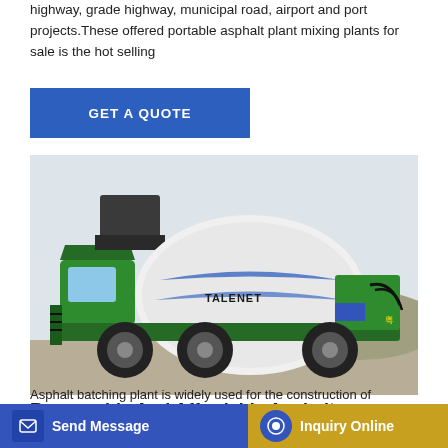highway, grade highway, municipal road, airport and port projects.These offered portable asphalt plant mixing plants for sale is the hot selling
[Figure (other): Blue 'GET A QUOTE' button]
[Figure (photo): A green and white self-loading concrete mixer truck branded 'TALENET' photographed outdoors on a gravel/construction site.]
Reasonable And Affordable Asphalt
Asphalt batching plant is widely used for the construction of
Send Message | Inquiry Online